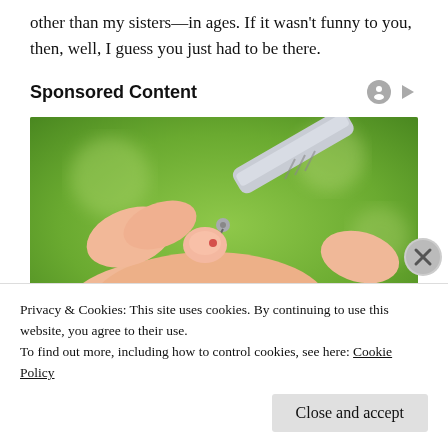other than my sisters—in ages. If it wasn't funny to you, then, well, I guess you just had to be there.
Sponsored Content
[Figure (photo): A hand with a fingertip being tested by a lancet device (blood glucose testing), with a green blurred background.]
Privacy & Cookies: This site uses cookies. By continuing to use this website, you agree to their use.
To find out more, including how to control cookies, see here: Cookie Policy